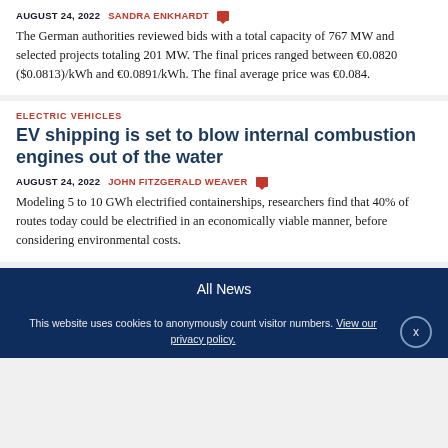AUGUST 24, 2022  SANDRA ENKHARDT
The German authorities reviewed bids with a total capacity of 767 MW and selected projects totaling 201 MW. The final prices ranged between €0.0820 ($0.0813)/kWh and €0.0891/kWh. The final average price was €0.084.
ELECTRIC VEHICLES
EV shipping is set to blow internal combustion engines out of the water
AUGUST 24, 2022  JOHN FITZGERALD WEAVER
Modeling 5 to 10 GWh electrified containerships, researchers find that 40% of routes today could be electrified in an economically viable manner, before considering environmental costs.
All News
This website uses cookies to anonymously count visitor numbers. View our privacy policy.